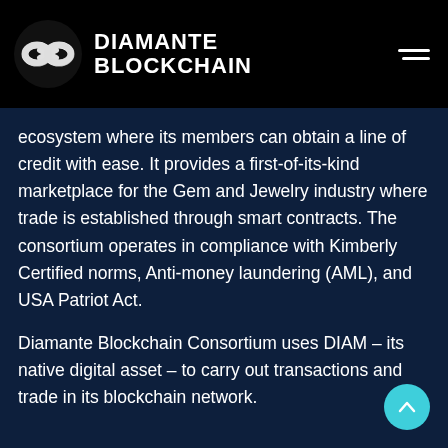DIAMANTE BLOCKCHAIN
ecosystem where its members can obtain a line of credit with ease. It provides a first-of-its-kind marketplace for the Gem and Jewelry industry where trade is established through smart contracts. The consortium operates in compliance with Kimberly Certified norms, Anti-money laundering (AML), and USA Patriot Act.
Diamante Blockchain Consortium uses DIAM – its native digital asset – to carry out transactions and trade in its blockchain network.